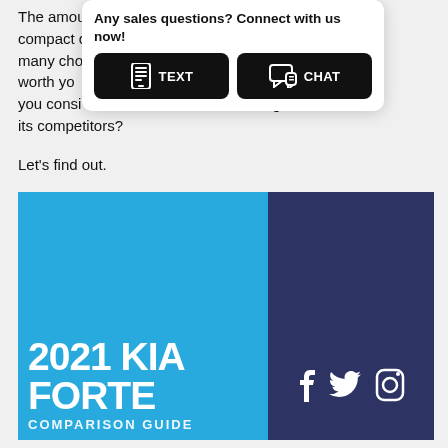The amount of ... buying a compact car ... With so many choices, ... are worth you... should you consider ... among its competitors?
[Figure (screenshot): Chat popup overlay with title 'Any sales questions? Connect with us now!' and two black buttons: TEXT and CHAT with icons]
Let's find out.
[Figure (illustration): 2021 Kia Forte Comparison Guide banner image with blue left panel showing '2021 KIA FORTE' in large white bold text and 'COMPARISON GUIDE' below, and a dark navy right panel with social media icons (Facebook, Twitter, Instagram)]